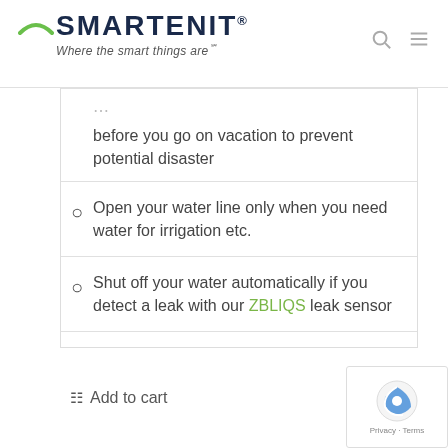SMARTENIT® — Where the smart things are℠
before you go on vacation to prevent potential disaster
Open your water line only when you need water for irrigation etc.
Shut off your water automatically if you detect a leak with our ZBLIQS leak sensor